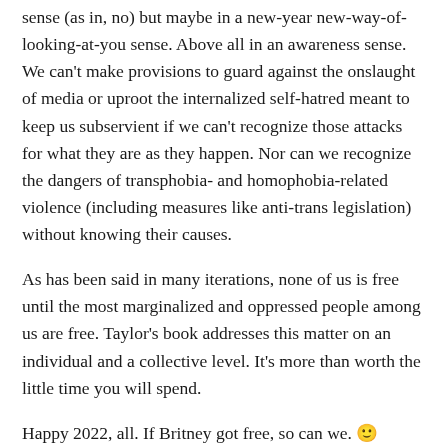sense (as in, no) but maybe in a new-year new-way-of-looking-at-you sense. Above all in an awareness sense. We can't make provisions to guard against the onslaught of media or uproot the internalized self-hatred meant to keep us subservient if we can't recognize those attacks for what they are as they happen. Nor can we recognize the dangers of transphobia- and homophobia-related violence (including measures like anti-trans legislation) without knowing their causes.
As has been said in many iterations, none of us is free until the most marginalized and oppressed people among us are free. Taylor's book addresses this matter on an individual and a collective level. It's more than worth the little time you will spend.
Happy 2022, all. If Britney got free, so can we. 🙂